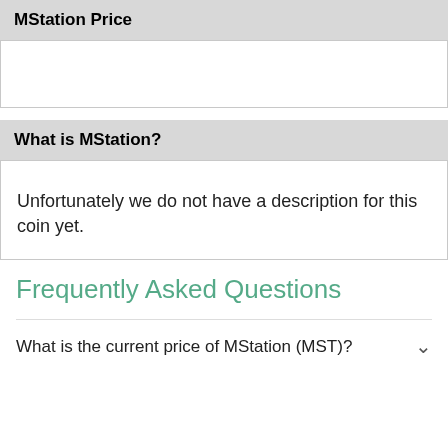MStation Price
What is MStation?
Unfortunately we do not have a description for this coin yet.
Frequently Asked Questions
What is the current price of MStation (MST)?